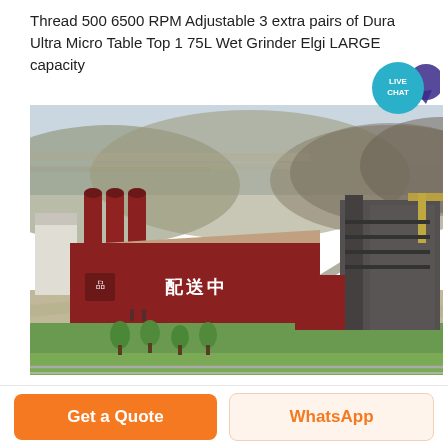Thread 500 6500 RPM Adjustable 3 extra pairs of Dura Ultra Micro Table Top 1 75L Wet Grinder Elgi LARGE capacity
[Figure (photo): Aerial view of a large industrial facility with dark red/maroon buildings, silos, and Chinese characters on the facade. Hills and overcast sky in the background. Green trees and paved areas in the foreground.]
Get a Quote
WhatsApp